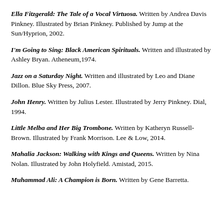Ella Fitzgerald: The Tale of a Vocal Virtuosa. Written by Andrea Davis Pinkney. Illustrated by Brian Pinkney. Published by Jump at the Sun/Hyprion, 2002.
I'm Going to Sing: Black American Spirituals. Written and illustrated by Ashley Bryan. Atheneum,1974.
Jazz on a Saturday Night. Written and illustrated by Leo and Diane Dillon. Blue Sky Press, 2007.
John Henry. Written by Julius Lester. Illustrated by Jerry Pinkney. Dial, 1994.
Little Melba and Her Big Trombone. Written by Katheryn Russell-Brown. Illustrated by Frank Morrison. Lee & Low, 2014.
Mahalia Jackson: Walking with Kings and Queens. Written by Nina Nolan. Illustrated by John Holyfield. Amistad, 2015.
Muhammad Ali: A Champion is Born. Written by Gene Barretta.